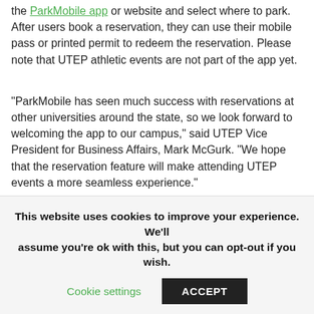the ParkMobile app or website and select where to park. After users book a reservation, they can use their mobile pass or printed permit to redeem the reservation. Please note that UTEP athletic events are not part of the app yet.
“ParkMobile has seen much success with reservations at other universities around the state, so we look forward to welcoming the app to our campus,” said UTEP Vice President for Business Affairs, Mark McGurk. “We hope that the reservation feature will make attending UTEP events a more seamless experience.”
Several El Paso venues and universities throughout Texas use ParkMobile, which has more than 1.9 million users throughout the
This website uses cookies to improve your experience. We’ll assume you’re ok with this, but you can opt-out if you wish.
Cookie settings
ACCEPT